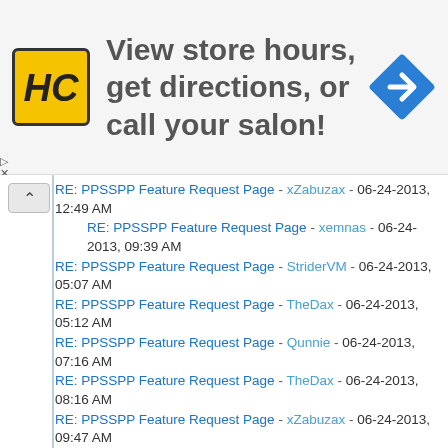[Figure (advertisement): Ad banner with HC logo (yellow/black), text 'View store hours, get directions, or call your salon!', and blue navigation arrow icon]
RE: PPSSPP Feature Request Page - xZabuzax - 06-24-2013, 12:49 AM
RE: PPSSPP Feature Request Page - xemnas - 06-24-2013, 09:39 AM
RE: PPSSPP Feature Request Page - StriderVM - 06-24-2013, 05:07 AM
RE: PPSSPP Feature Request Page - TheDax - 06-24-2013, 05:12 AM
RE: PPSSPP Feature Request Page - Qunnie - 06-24-2013, 07:16 AM
RE: PPSSPP Feature Request Page - TheDax - 06-24-2013, 08:16 AM
RE: PPSSPP Feature Request Page - xZabuzax - 06-24-2013, 09:47 AM
RE: PPSSPP Feature Request Page - xemnas - 06-24-2013, 12:49 PM
RE: PPSSPP Feature Request Page - jacky400 - 06-24-2013, 12:26 PM
RE: PPSSPP Feature Request Page - arg274 - 06-24-2013, 02:33 PM
RE: PPSSPP Feature Request Page - magearden - 06-24-2013, 05:25 PM